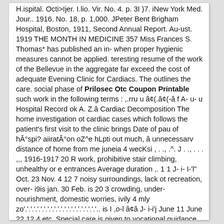H.ispital. Octi>Ijer. I.lio. Vir. No. 4. p. 3I )7. iNew York Med. Jour.. 1916. No. 18, p. 1,000. JPeter Bent Brigham Hospital, Boston, 1911, Second Annual Report. Au-ust. 1919 THE MONTH IN MEDICINE 357 Miss Frances S. Thomas* has published an in- when proper hygienic measures cannot be applied. teresting resume of the work of the Bellevue in the aggregate far exceed the cost of adequate Evening Clinic for Cardiacs. The outlines the care. social phase of Prilosec Otc Coupon Printable such work in the following terms : ,.rru u â¢(.â¢(-â f A- u- u Hospital Record ok A. Z.â Cardiac Decomposition The home investigation ot cardiac cases which follows the patient's first visit to the clinic brings Date of pau of hÂ°spi? aiiratÂ°on oZ^e hLpti out much, â unnecessarv distance of home from me juneia 4 wecKsi , . ., .^. J . ., . . . ,,, 1916-1917 20 R work, prohibitive stair climbing, unhealthy or e entrances Average duration ,. 1 1 J- i- I-'l" Oct. 23 Nov. 4 12 7 noisy surroundings, lack ot recreation, over- i9is jan. 30 Feb. is 20 3 crowding, under-nourishment, domestic worries, ivily 4 mly zo'.'.'.'.'.'.'.'.'.'.'.'.'.'.'.'.'.'.'.'.'.'.. is I ,o-l â¢â J- i-i'j June 11 June 22 12 4 etc. Special care is given to vocational guidance July 20 Aug. 13 24 3 and industrial